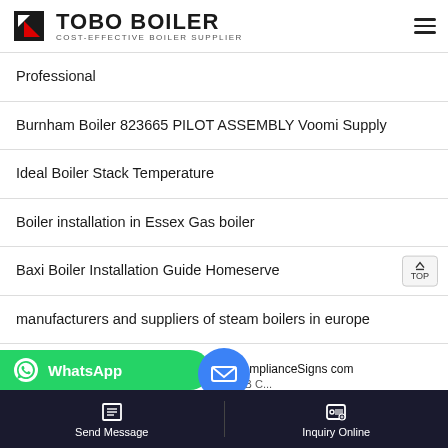TOBO BOILER — COST-EFFECTIVE BOILER SUPPLIER
Professional
Burnham Boiler 823665 PILOT ASSEMBLY Voomi Supply
Ideal Boiler Stack Temperature
Boiler installation in Essex Gas boiler
Baxi Boiler Installation Guide Homeserve
manufacturers and suppliers of steam boilers in europe
om ComplianceSigns com
WhatsApp
Send Message | Inquiry Online